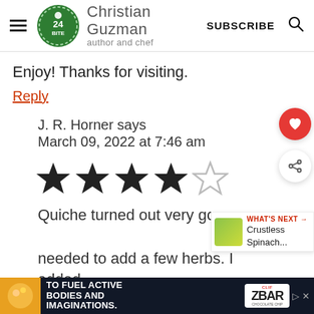Christian Guzman author and chef — SUBSCRIBE
Enjoy! Thanks for visiting.
Reply
J. R. Horner says
March 09, 2022 at 7:46 am
[Figure (other): 4 out of 5 stars rating (4 filled stars, 1 empty star)]
Quiche turned out very go... needed to add a few herbs. I added
TO FUEL ACTIVE BODIES AND IMAGINATIONS. ZBAR